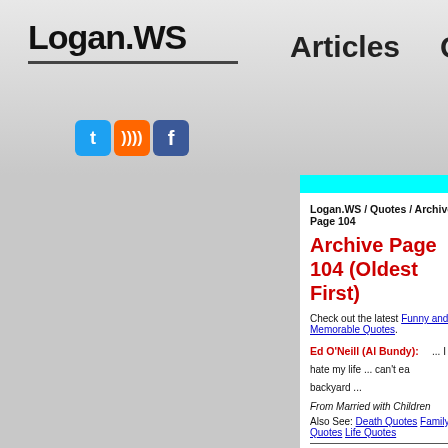Logan.WS | Articles | Quotes
Archive Page 104 (Oldest First)
Logan.WS / Quotes / Archive Page 104
Check out the latest Funny and Memorable Quotes.
Ed O'Neill (Al Bundy): ... I hate my life ... can't ea... backyard ...
From Married with Children
Also See: Death Quotes Family Quotes Life Quotes
Megan Fox (Mikaela Banes): ... you think I am shallow,b...
Shia LaBeouf (Sam Witwicky): ... no no no no, I think, um...
...
From Transformers